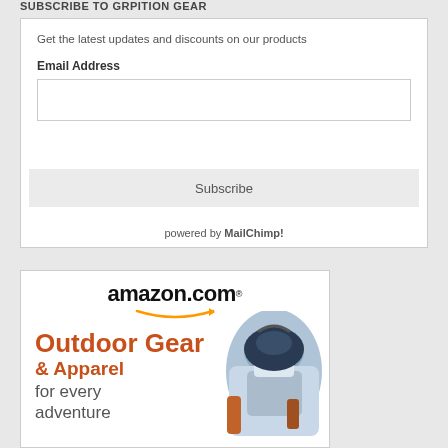SUBSCRIBE TO GRPITION GEAR
Get the latest updates and discounts on our products
Email Address
Subscribe
powered by MailChimp!
[Figure (other): Amazon.com advertisement for Outdoor Gear & Apparel for every adventure, showing a camping backpack]